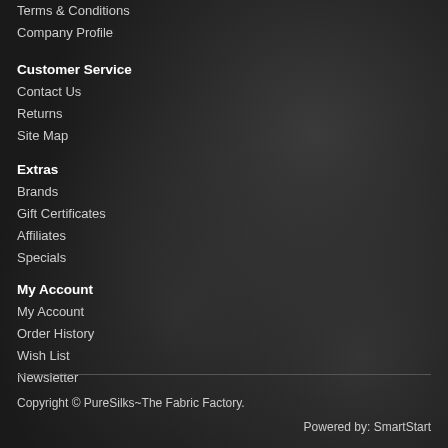Terms & Conditions
Company Profile
Customer Service
Contact Us
Returns
Site Map
Extras
Brands
Gift Certificates
Affiliates
Specials
My Account
My Account
Order History
Wish List
Newsletter
Copyright © PureSilks~The Fabric Factory.
Powered by: SmartStart